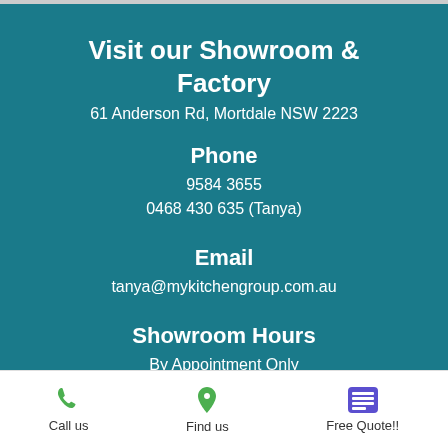Visit our Showroom & Factory
61 Anderson Rd, Mortdale NSW 2223
Phone
9584 3655
0468 430 635 (Tanya)
Email
tanya@mykitchengroup.com.au
Showroom Hours
By Appointment Only
Monday to Friday 9am to 3pm
Call us   Find us   Free Quote!!